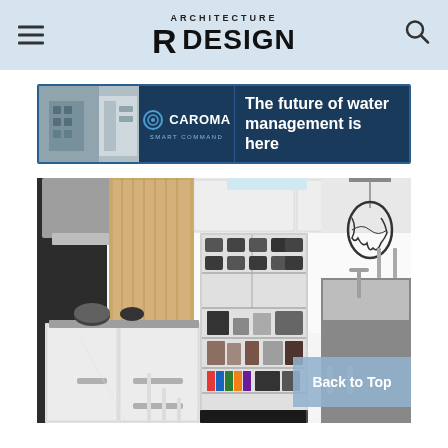ARCHITECTURE & DESIGN
[Figure (infographic): Advertisement banner for CAROMA Smart Command showing kitchen background photo on left and text 'The future of water management is here' on dark navy background]
[Figure (photo): Modern white kitchen interior with shelving unit filled with appliances and wine bottle holders, kitchen island, range hood, wood panel accents, pendant lamp, and 'Back to Top' button overlay]